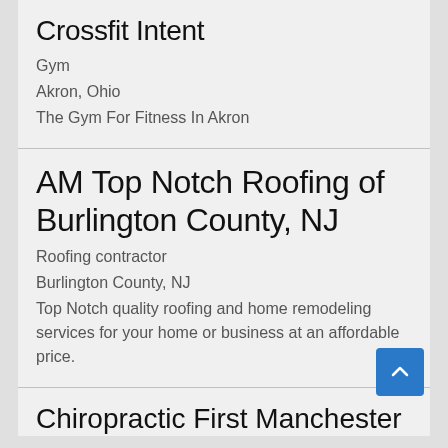Crossfit Intent
Gym
Akron, Ohio
The Gym For Fitness In Akron
AM Top Notch Roofing of Burlington County, NJ
Roofing contractor
Burlington County, NJ
Top Notch quality roofing and home remodeling services for your home or business at an affordable price.
Chiropractic First Manchester